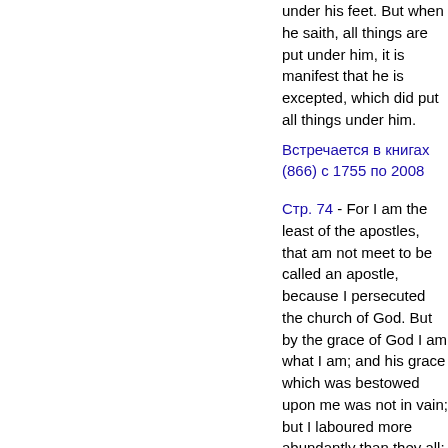under his feet. But when he saith, all things are put under him, it is manifest that he is excepted, which did put all things under him.
Встречается в книгах (866) с 1755 по 2008
Стр. 74 - For I am the least of the apostles, that am not meet to be called an apostle, because I persecuted the church of God. But by the grace of God I am what I am; and his grace which was bestowed upon me was not in vain; but I laboured more abundantly than they all; yet not I, but the grace of God which was with me.
В...